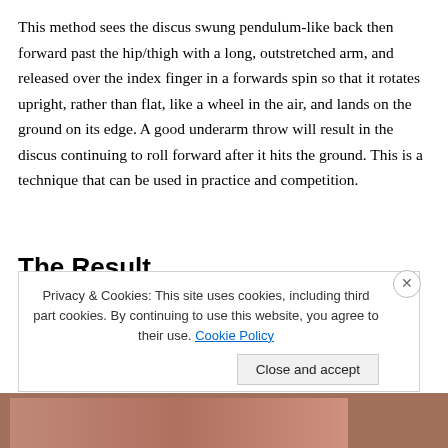This method sees the discus swung pendulum-like back then forward past the hip/thigh with a long, outstretched arm, and released over the index finger in a forwards spin so that it rotates upright, rather than flat, like a wheel in the air, and lands on the ground on its edge. A good underarm throw will result in the discus continuing to roll forward after it hits the ground. This is a technique that can be used in practice and competition.
The Result
Confidence and performances generally improve quickly
Privacy & Cookies: This site uses cookies, including third part cookies. By continuing to use this website, you agree to their use. Cookie Policy
Close and accept